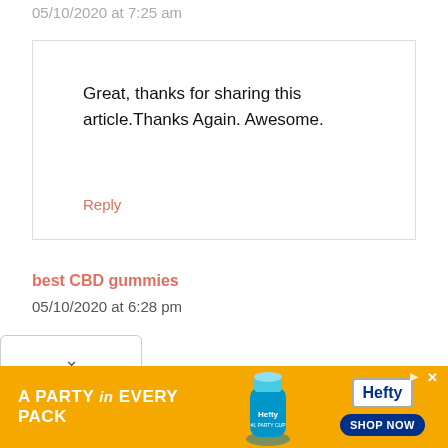05/10/2020 at 7:25 am
Great, thanks for sharing this article.Thanks Again. Awesome.
Reply
best CBD gummies
05/10/2020 at 6:28 pm
[Figure (infographic): Orange Hefty advertisement banner reading 'A PARTY in EVERY PACK' with Hefty cup bottle image and Shop Now button]